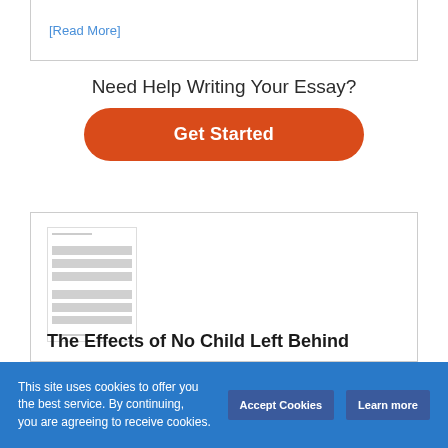[Read More]
Need Help Writing Your Essay?
[Figure (other): Orange 'Get Started' CTA button with rounded corners]
[Figure (other): Thumbnail preview of a document/essay page with text lines]
The Effects of No Child Left Behind
This site uses cookies to offer you the best service. By continuing, you are agreeing to receive cookies.
Accept Cookies
Learn more